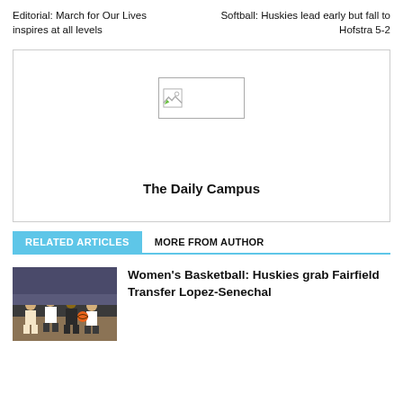Editorial: March for Our Lives inspires at all levels
Softball: Huskies lead early but fall to Hofstra 5-2
[Figure (logo): The Daily Campus newspaper logo placeholder with broken image icon]
RELATED ARTICLES
MORE FROM AUTHOR
[Figure (photo): Women's basketball team huddle photo]
Women's Basketball: Huskies grab Fairfield Transfer Lopez-Senechal